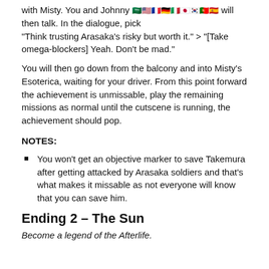with Misty. You and Johnny will then talk. In the dialogue, pick "Think trusting Arasaka's risky but worth it." > "[Take omega-blockers] Yeah. Don't be mad."
You will then go down from the balcony and into Misty's Esoterica, waiting for your driver. From this point forward the achievement is unmissable, play the remaining missions as normal until the cutscene is running, the achievement should pop.
NOTES:
You won't get an objective marker to save Takemura after getting attacked by Arasaka soldiers and that's what makes it missable as not everyone will know that you can save him.
Ending 2 – The Sun
Become a legend of the Afterlife.